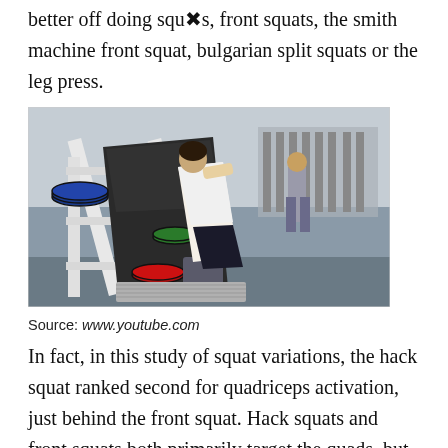better off doing squats, front squats, the smith machine front squat, bulgarian split squats or the leg press.
[Figure (photo): A person using a hack squat machine in a gym, leaning forward on the padded surface with another person and dumbbell rack visible in the background.]
Source: www.youtube.com
In fact, in this study of squat variations, the hack squat ranked second for quadriceps activation, just behind the front squat. Hack squats and front squats both primarily target the quads, but the hack squat does not put strain on the lower back at the same time.